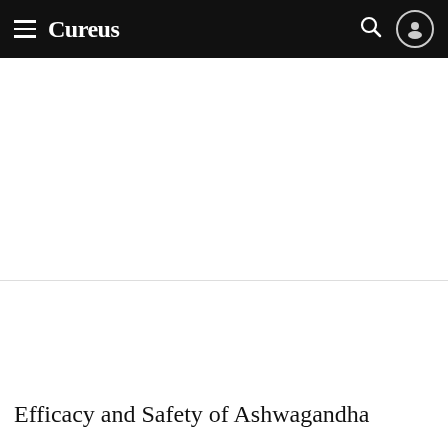Cureus
Article   Authors etc.   Metrics   Comments
ORIGINAL ARTICLE   PEER-REVIEWED   PDF
Efficacy and Safety of Ashwagandha